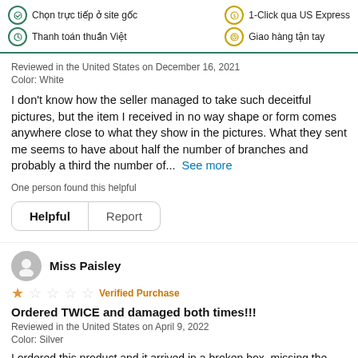Chọn trực tiếp ở site gốc | Thanh toán thuần Việt | 1-Click qua US Express | Giao hàng tận tay
Reviewed in the United States on December 16, 2021
Color: White
I don't know how the seller managed to take such deceitful pictures, but the item I received in no way shape or form comes anywhere close to what they show in the pictures. What they sent me seems to have about half the number of branches and probably a third the number of...  See more
One person found this helpful
Helpful  |  Report
Miss Paisley
★☆☆☆☆ Verified Purchase
Ordered TWICE and damaged both times!!!
Reviewed in the United States on April 9, 2022
Color: Silver
I ordered this product and it arrived in a broken box, missing the...